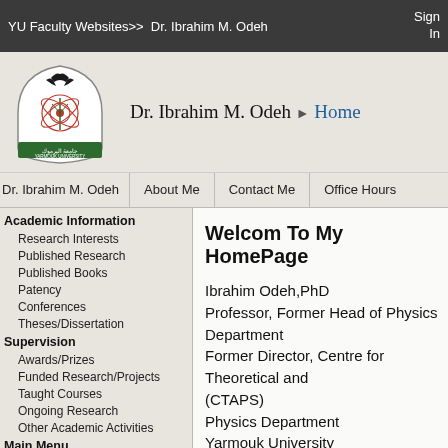YU Faculty Websites >> Dr. Ibrahim M. Odeh | Sign In
[Figure (logo): Yarmouk University circular logo/shield with Arabic text and imagery]
Dr. Ibrahim M. Odeh ▶ Home
Dr. Ibrahim M. Odeh | About Me | Contact Me | Office Hours
Academic Information
Research Interests
Published Research
Published Books
Patency
Conferences
Theses/Dissertation
Supervision
Awards/Prizes
Funded Research/Projects
Taught Courses
Ongoing Research
Other Academic Activities
Main Menu
News
Announcements
Calendar
Useful Links
Gallery
Welcom To My HomePage
Ibrahim Odeh,PhD
Professor, Former Head of Physics Department
Former Director, Centre for Theoretical and (CTAPS)
Physics Department
Yarmouk University
Irbid 21163
Jordan.
Tel: 962 2 7211111,
Extensions: 2924, 2209